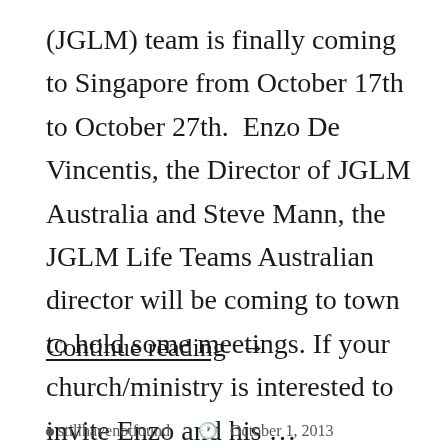(JGLM) team is finally coming to Singapore from October 17th to October 27th.  Enzo De Vincentis, the Director of JGLM Australia and Steve Mann, the JGLM Life Teams Australian director will be coming to town to hold some meetings. If your church/ministry is interested to invite Enzo and his …
Continue reading →
stillhavenotfound   October 1, 2013